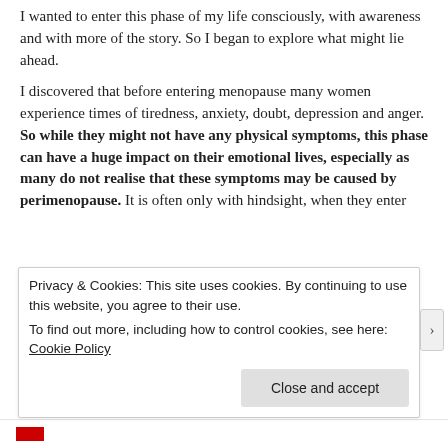I wanted to enter this phase of my life consciously, with awareness and with more of the story. So I began to explore what might lie ahead.
I discovered that before entering menopause many women experience times of tiredness, anxiety, doubt, depression and anger. So while they might not have any physical symptoms, this phase can have a huge impact on their emotional lives, especially as many do not realise that these symptoms may be caused by perimenopause. It is often only with hindsight, when they enter
Privacy & Cookies: This site uses cookies. By continuing to use this website, you agree to their use.
To find out more, including how to control cookies, see here: Cookie Policy